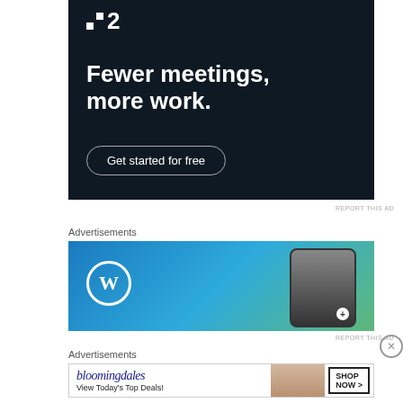[Figure (illustration): Dark navy background advertisement for P2 project management tool. White logo with two squares and number 2. Bold white headline 'Fewer meetings, more work.' with a rounded border button 'Get started for free'.]
REPORT THIS AD
Advertisements
[Figure (illustration): WordPress advertisement with blue-to-green gradient background, WordPress circular logo on the left, and a smartphone showing an image on the right.]
REPORT THIS AD
Advertisements
[Figure (illustration): Bloomingdale's advertisement. Bloomingdale's logo in blue italic serif font, tagline 'View Today's Top Deals!', woman in wide brim hat, SHOP NOW > button in box.]